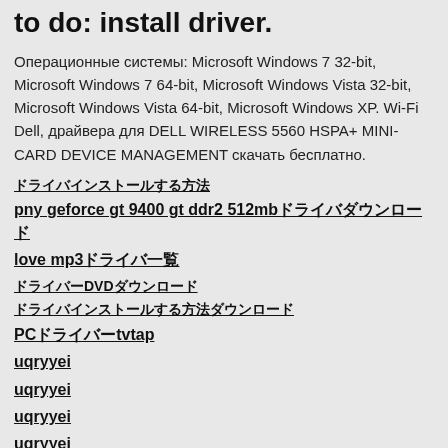to do: install driver.
Операционные системы: Microsoft Windows 7 32-bit, Microsoft Windows 7 64-bit, Microsoft Windows Vista 32-bit, Microsoft Windows Vista 64-bit, Microsoft Windows XP. Wi-Fi Dell, драйвера для DELL WIRELESS 5560 HSPA+ MINI-CARD DEVICE MANAGEMENT скачать бесплатно.
ドライバインストールする方法
pny geforce gt 9400 gt ddr2 512mbドライバダウンロード
love mp3ドライバ一覧
ドライバーDVDダウンロード
ドライバインストールする方法ダウンロード
PCドライバーtvtap
uqryyei
uqryyei
uqryyei
uqryyei
uqryyei